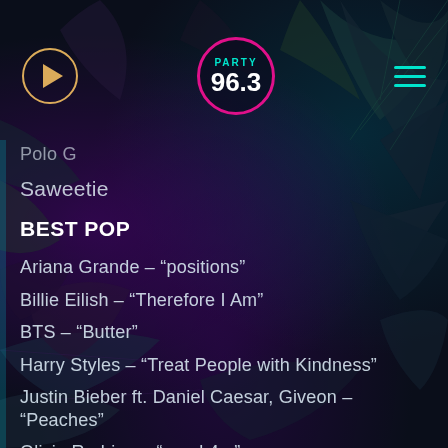[Figure (screenshot): Dark tropical palm leaf background with deep purple, teal, and dark navy tones]
Party 96.3 radio app header with play button, Party 96.3 logo, and hamburger menu
Polo G
Saweetie
BEST POP
Ariana Grande – "positions"
Billie Eilish – "Therefore I Am"
BTS – "Butter"
Harry Styles – "Treat People with Kindness"
Justin Bieber ft. Daniel Caesar, Giveon – "Peaches"
Olivia Rodrigo – "good 4 u"
Shawn Mendes – "Wonder"